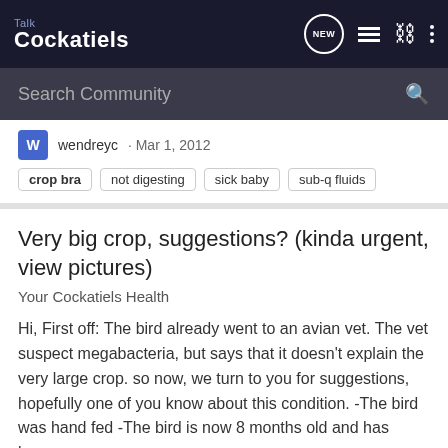Talk Cockatiels
Search Community
wendreyc · Mar 1, 2012
crop bra   not digesting   sick baby   sub-q fluids
Very big crop, suggestions? (kinda urgent, view pictures)
Your Cockatiels Health
Hi, First off: The bird already went to an avian vet. The vet suspect megabacteria, but says that it doesn't explain the very large crop. so now, we turn to you for suggestions, hopefully one of you know about this condition. -The bird was hand fed -The bird is now 8 months old and has been...
15   5K
fullmetalgirl · Jan 9, 2012